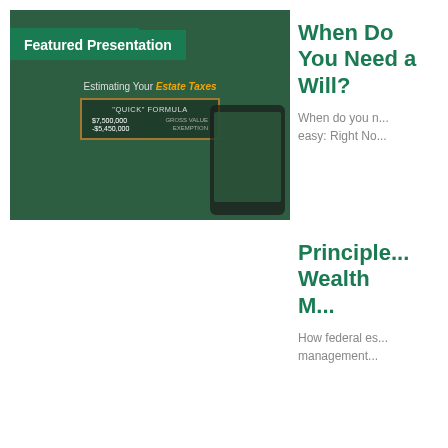[Figure (screenshot): Featured Video thumbnail showing a hand holding a key over a clock face, with video controls showing 1:07 duration]
When Do You Need a Will?
When do you need a will? The answer is easy: Right Now...
[Figure (screenshot): Featured Presentation thumbnail showing a slide about Estimating Your Estate Taxes with a Quick Formula, showing $7,500,000 gross value and -$5,450,000 exemption]
Principles of Wealth Management
How federal estate management...